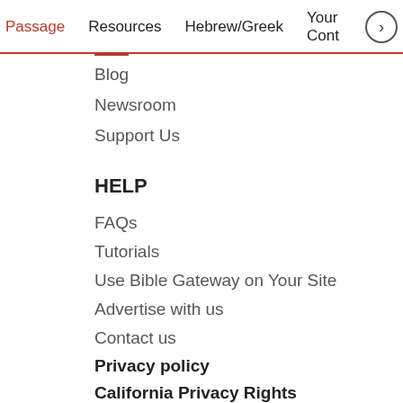Passage  Resources  Hebrew/Greek  Your Cont >
Blog
Newsroom
Support Us
HELP
FAQs
Tutorials
Use Bible Gateway on Your Site
Advertise with us
Contact us
Privacy policy
California Privacy Rights
Do Not Sell My Personal Information
Site: Terms of use